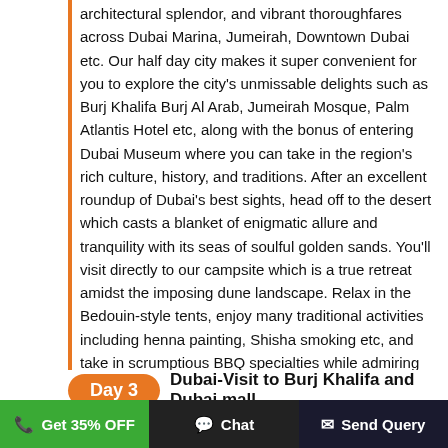architectural splendor, and vibrant thoroughfares across Dubai Marina, Jumeirah, Downtown Dubai etc. Our half day city makes it super convenient for you to explore the city's unmissable delights such as Burj Khalifa Burj Al Arab, Jumeirah Mosque, Palm Atlantis Hotel etc, along with the bonus of entering Dubai Museum where you can take in the region's rich culture, history, and traditions. After an excellent roundup of Dubai's best sights, head off to the desert which casts a blanket of enigmatic allure and tranquility with its seas of soulful golden sands. You'll visit directly to our campsite which is a true retreat amidst the imposing dune landscape. Relax in the Bedouin-style tents, enjoy many traditional activities including henna painting, Shisha smoking etc, and take in scrumptious BBQ specialties while admiring classic performances by belly dancer and Tanura artists.
Day 3 Dubai-Visit to Burj Khalifa and Dubai mall (Dubai Aquarium and Underwater zoo
This combo pass is also inclusive of Burj Khalifa ticket that
Get 35% OFF   Chat   Send Query